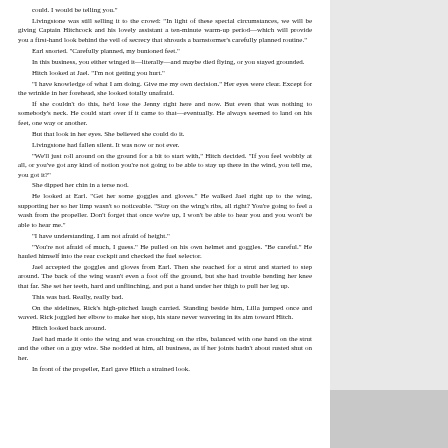could. I would be telling you."
	Livingstone was still selling it to the crowd: "In light of these special circumstances, we will be giving Captain Hitchcock and his lovely assistant a ten-minute warm-up period—which will provide you a first-hand look behind the veil of secrecy that shrouds a barnstormer's carefully planned routine."
	Earl snorted. "Carefully planned, my bunioned feet."
	In this business, you either winged it—literally—and maybe died flying, or you stayed grounded.
	Hitch looked at Jael. "I'm not getting you hurt."
	"I have knowledge of what I am doing. Give me my own decision." Her eyes were clear. Except for the wrinkle in her forehead, she looked totally unafraid.
	If she couldn't do this, he'd lose the Jenny right here and now. But even that was nothing to somebody's neck. He could start over if it came to that—eventually. He always seemed to land on his feet, one way or another.
	But that look in her eyes. She believed she could do it.
	Livingstone had fallen silent. It was now or not ever.
	"We'll just roll around on the ground for a bit to start with," Hitch decided. "If you feel wobbly at all, or you've got any kind of notion you're not going to be able to stay up there in the wind, you tell me, you got it?"
	She dipped her chin in a terse nod.
	He looked at Earl. "Get her some goggles and gloves." He walked Jael right up to the wing, supporting her so her limp wasn't so noticeable. "Stay on the wing's ribs, all right? You're going to feel a wash from the propeller. Don't forget that once we're up, I won't be able to hear you and you won't be able to hear me."
	"I have understanding. I am not afraid of height."
	"You're not afraid of much, I guess." He pulled on his own helmet and goggles. "Be careful." He hauled himself into the rear cockpit and checked the fuel selector.
	Jael accepted the goggles and gloves from Earl. Then she reached for a strut and started to step around. The back of the wing wasn't even a foot off the ground, but she had trouble bending her knee that far. She set her teeth, hard and unflinching, and put a hand under her thigh to pull her leg up.
	This was bad. Really, really bad.
	On the sidelines, Rick's high-pitched laugh carried. Standing beside him, Lilla jumped once and waved. Rick joggled her elbow to make her stop, his stare never wavering in its aim toward Hitch.
	Hitch looked back around.
	Jael had made it onto the wing and was crouching on the ribs, balanced with one hand on the strut and the other on a guy wire. She nodded at him, all business, as if her joints hadn't about rusted shut on her.
	In front of the propeller, Earl gave Hitch a strained look.